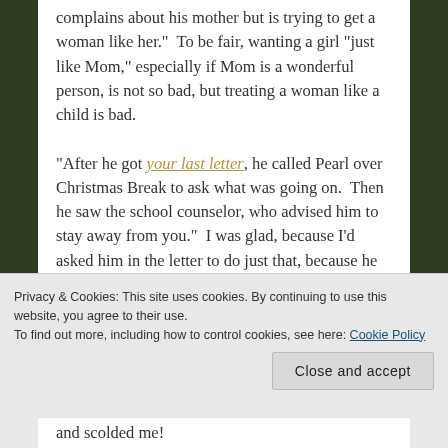complains about his mother but is trying to get a woman like her.”  To be fair, wanting a girl “just like Mom,” especially if Mom is a wonderful person, is not so bad, but treating a woman like a child is bad.

“After he got your last letter, he called Pearl over Christmas Break to ask what was going on.  Then he saw the school counselor, who advised him to stay away from you.”  I was glad, because I’d asked him in the letter to do just that, because he was being cruel to me and I didn’t want to see him.
Privacy & Cookies: This site uses cookies. By continuing to use this website, you agree to their use.
To find out more, including how to control cookies, see here: Cookie Policy
and scolded me!